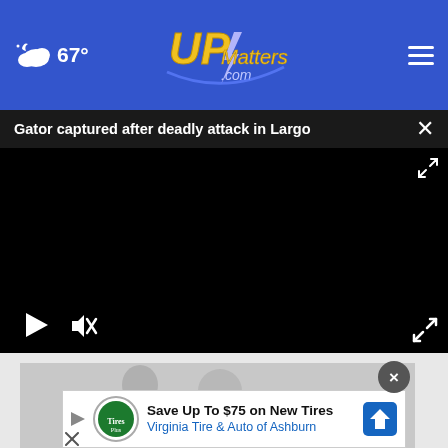67° UPMatters.com
Gator captured after deadly attack in Largo
[Figure (screenshot): Black video player area with play button, mute button, and fullscreen button controls]
[Figure (screenshot): Advertisement: Save Up To $75 on New Tires — Virginia Tire & Auto of Ashburn, with Tires Plus logo and blue direction arrow icon]